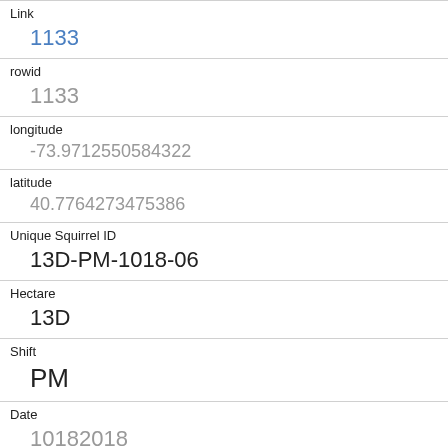| Field | Value |
| --- | --- |
| Link | 1133 |
| rowid | 1133 |
| longitude | -73.9712550584322 |
| latitude | 40.7764273475386 |
| Unique Squirrel ID | 13D-PM-1018-06 |
| Hectare | 13D |
| Shift | PM |
| Date | 10182018 |
| Hectare Squirrel Number | 6 |
| Age | Adult |
| Primary Fur Color |  |